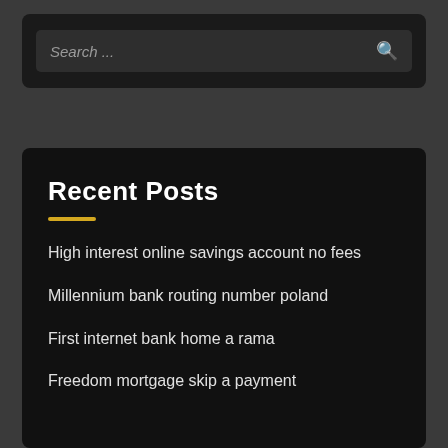[Figure (screenshot): Search bar with placeholder text 'Search ...' and a search icon on the right, on a dark background]
Recent Posts
High interest online savings account no fees
Millennium bank routing number poland
First internet bank home a rama
Freedom mortgage skip a payment